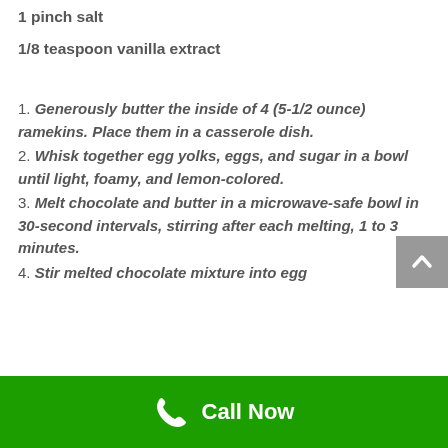1 pinch salt
1/8 teaspoon vanilla extract
1. Generously butter the inside of 4 (5-1/2 ounce) ramekins. Place them in a casserole dish.
2. Whisk together egg yolks, eggs, and sugar in a bowl until light, foamy, and lemon-colored.
3. Melt chocolate and butter in a microwave-safe bowl in 30-second intervals, stirring after each melting, 1 to 3 minutes.
4. Stir melted chocolate mixture into egg
Call Now